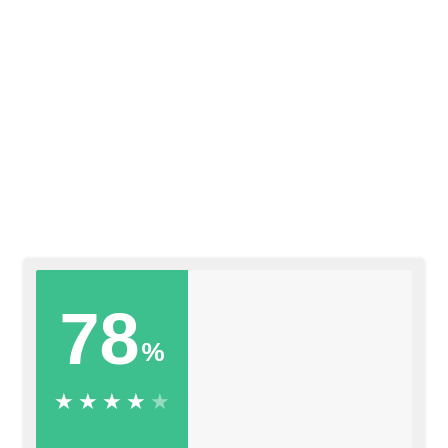[Figure (infographic): A card widget showing a teal green box with the score '78%' in large white bold text and 4 out of 5 stars below it in white. The card has a light grey background.]